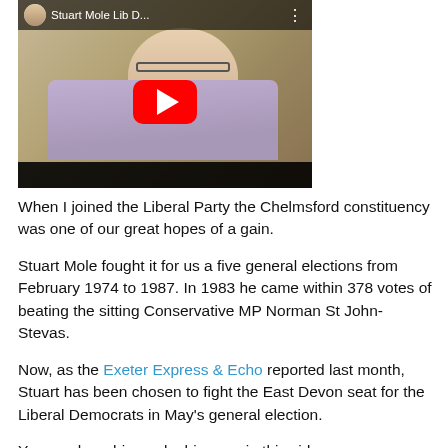[Figure (screenshot): YouTube video thumbnail showing a man being interviewed, with a red YouTube play button overlay and the title 'Stuart Mole Lib D...' in the top bar.]
When I joined the Liberal Party the Chelmsford constituency was one of our great hopes of a gain.
Stuart Mole fought it for us a five general elections from February 1974 to 1987. In 1983 he came within 378 votes of beating the sitting Conservative MP Norman St John-Stevas.
Now, as the Exeter Express & Echo reported last month, Stuart has been chosen to fight the East Devon seat for the Liberal Democrats in May's general election.
You can hear him make his case in this video.